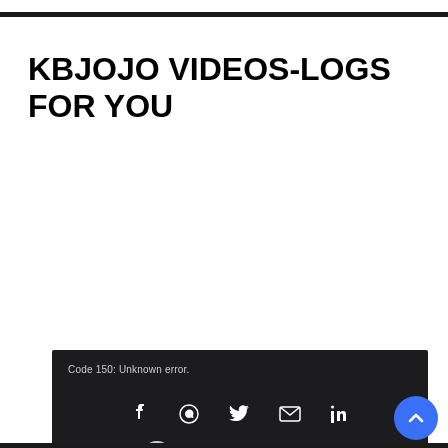KBJOJO VIDEOS-LOGS FOR YOU
[Figure (screenshot): Embedded video player showing error: Code 150: Unknown error. Download File: https://www.youtube.com/watch?v=mHeJsKuiqYs&_=1. Center of player shows exclamation icon and text 'This video is unavailable'. Bottom bar has social share icons (Facebook, WhatsApp, Twitter, Email, LinkedIn) and YouTube badge. Blue scroll-to-top button in corner.]